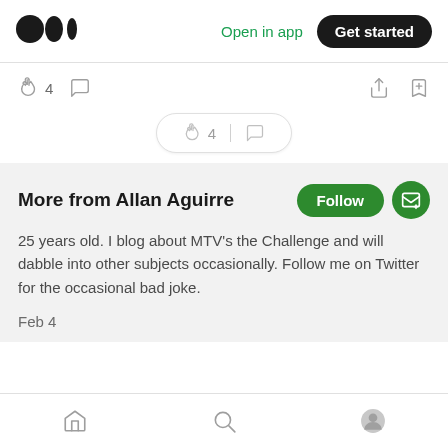[Figure (logo): Medium logo - three black circles/ovals]
Open in app
Get started
[Figure (infographic): Clapping hands icon with count 4 and comment bubble icon, plus share and bookmark icons]
[Figure (infographic): Center floating pill with clapping hands icon, count 4, divider, and comment bubble icon]
More from Allan Aguirre
25 years old. I blog about MTV's the Challenge and will dabble into other subjects occasionally. Follow me on Twitter for the occasional bad joke.
Feb 4
[Figure (infographic): Bottom navigation bar with home, search, and profile icons]